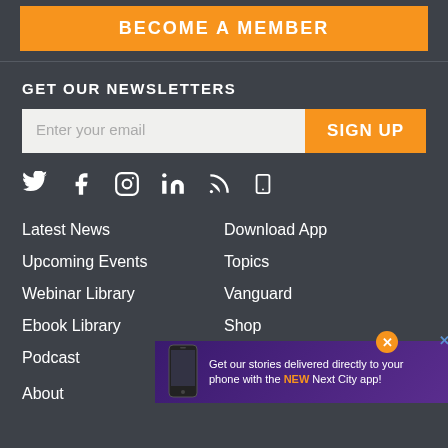BECOME A MEMBER
GET OUR NEWSLETTERS
Enter your email
SIGN UP
[Figure (infographic): Social media icons: Twitter, Facebook, Instagram, LinkedIn, RSS, Mobile/Phone]
Latest News
Upcoming Events
Webinar Library
Ebook Library
Podcast
Download App
Topics
Vanguard
Shop
Donate
About
Get our stories delivered directly to your phone with the NEW Next City app!